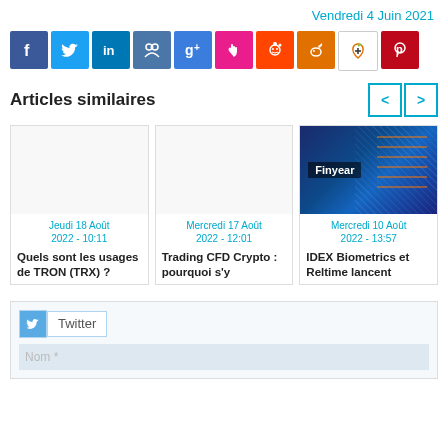Vendredi 4 Juin 2021
[Figure (infographic): Social media sharing icons: Facebook, Twitter, LinkedIn, VK, Google+, Mewe, Reddit, Digg, Vine, Pinterest]
Articles similaires
[Figure (infographic): Navigation buttons < and >]
[Figure (photo): Blank placeholder image for article: Quels sont les usages de TRON (TRX)?]
Jeudi 18 Août 2022 - 10:11
Quels sont les usages de TRON (TRX) ?
[Figure (photo): Blank placeholder image for article: Trading CFD Crypto : pourquoi s'y]
Mercredi 17 Août 2022 - 12:01
Trading CFD Crypto : pourquoi s'y
[Figure (photo): Finyear branded tech/data center image with blue circuit board background]
Mercredi 10 Août 2022 - 13:57
IDEX Biometrics et Reltime lancent
[Figure (screenshot): Twitter widget with Twitter icon and label, and Nom input field]